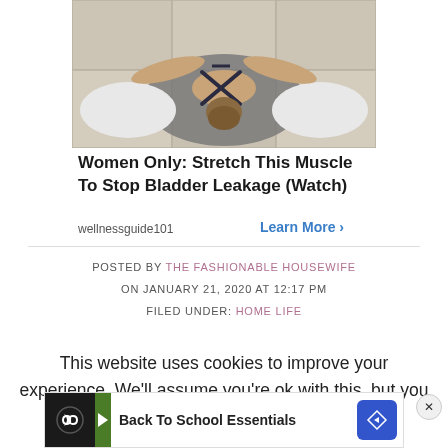[Figure (photo): Person lying face down on a yoga mat in child's pose position, viewed from above, wearing a dark strappy swimsuit/sports top, with arms stretched forward on a tiled floor]
Women Only: Stretch This Muscle To Stop Bladder Leakage (Watch)
wellnessguide101
Learn More >
POSTED BY THE FASHIONABLE HOUSEWIFE ON JANUARY 21, 2020 AT 12:17 PM FILED UNDER: HOME LIFE
This website uses cookies to improve your experience. We'll assume you're ok with this, but you can opt-out if you wish.
[Figure (photo): Bottom advertisement banner: Back To School Essentials with a circular black logo with infinity symbol and blue diamond arrow icon]